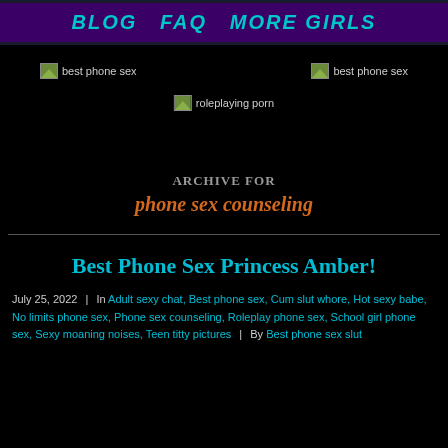BLOG   FAQ   MORE GIRLS
[Figure (photo): best phone sex image placeholder (top left)]
[Figure (photo): best phone sex image placeholder (top right)]
[Figure (photo): roleplaying porn image placeholder (center)]
ARCHIVE FOR
phone sex counseling
Best Phone Sex Princess Amber!
July 25, 2022 | In Adult sexy chat, Best phone sex, Cum slut whore, Hot sexy babe, No limits phone sex, Phone sex counseling, Roleplay phone sex, School girl phone sex, Sexy moaning noises, Teen titty pictures | By Best phone sex slut